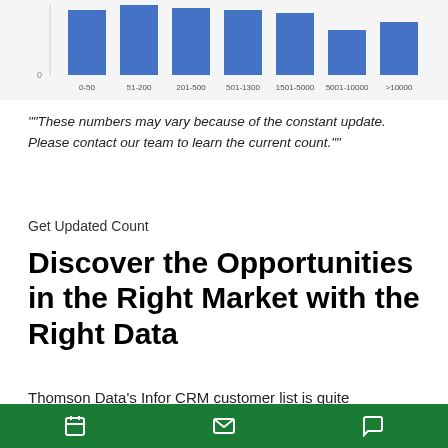[Figure (bar-chart): Company size distribution]
""These numbers may vary because of the constant update. Please contact our team to learn the current count.""
Get Updated Count
Discover the Opportunities in the Right Market with the Right Data
Thomson Data's Infor CRM customer list is quite comprehensive and accurate. Our high-quality and pre-verified list can save your time and money, incurred to collect as well as